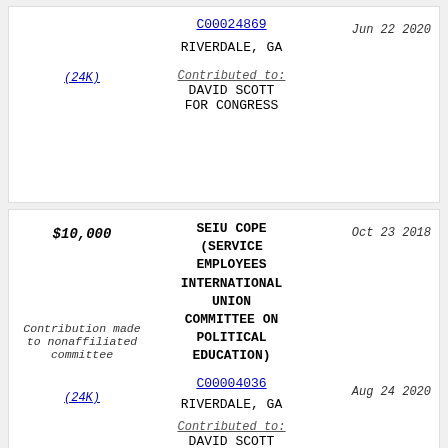| Amount/Note | Organization | Date |
| --- | --- | --- |
| (24K) | C00024869
RIVERDALE, GA
Contributed to:
DAVID SCOTT FOR CONGRESS | Jun 22 2020 |
| $10,000
Contribution made to nonaffiliated committee
(24K) | SEIU COPE (SERVICE EMPLOYEES INTERNATIONAL UNION COMMITTEE ON POLITICAL EDUCATION)
C00004036
RIVERDALE, GA
Contributed to:
DAVID SCOTT FOR CONGRESS | Oct 23 2018
Aug 24 2020 |